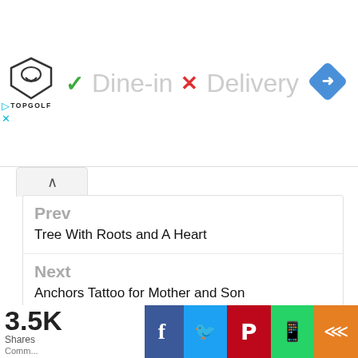[Figure (screenshot): Ad banner: Topgolf logo with checkmark Dine-in, X Delivery, and blue navigation diamond icon]
Prev
Tree With Roots and A Heart
Next
Anchors Tattoo for Mother and Son
Leave a Reply
Your email address will not be published. Required fields are marked *
3.5K Shares